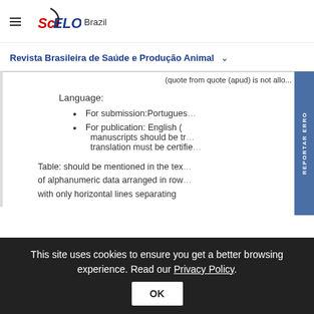SciELO Brazil
Revista Brasileira de Saúde e Produção Animal
(quote from quote (apud) is not allo...
Language:
For submission: Portuguese
For publication: English (manuscripts should be translated, translation must be certified
Table: should be mentioned in the text... of alphanumeric data arranged in rows... with only horizontal lines separating
This site uses cookies to ensure you get a better browsing experience. Read our Privacy Policy.